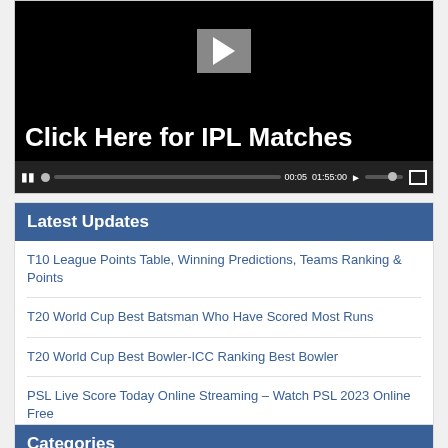[Figure (screenshot): Video player with black background showing a play button, text 'Click Here for IPL Matches', and video controls at bottom showing 00:05 / 01:55:00]
Latest Updates
T10 League Points Table, Winning Predictions, Teams Ranking & Points
T20 World Cup Best Batsman Who Have Scored Most Runs
T20 World Cup Best Bowler-ICC Ranking Best Bowler
PSL Live Score Today Online Streaming – Watch PSL 2023 Online Free
T20 World Cup Scorecard & Results on Mobile & Laptops
Categories